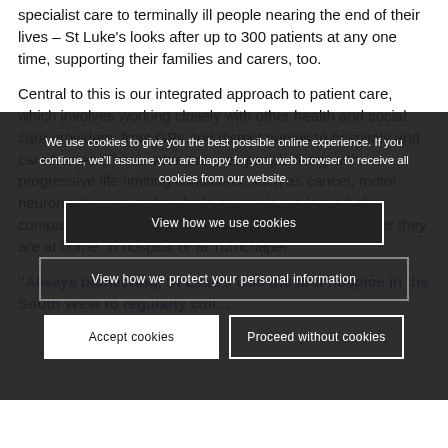specialist care to terminally ill people nearing the end of their lives – St Luke's looks after up to 300 patients at any one time, supporting their families and carers, too.
Central to this is our integrated approach to patient care, which involves working closely with other health and social care providers, from GPs and district nurses to hospitals and care homes. This is what ensures people living with progressive life-limiting conditions, such as cancer, motor neurone disease and multiple sclerosis are looked after compassionately and as seamlessly as possible whether they are at home, in hospital or at Turnchapel.
We use cookies to give you the best possible online experience. If you continue, we'll assume you are happy for your web browser to receive all cookies from our website.
View how we use cookies
View how we protect your personal information
Accept cookies
Proceed without cookies
"Always pioneering, St Luke's was the first hospice in the South West to regularly collect...